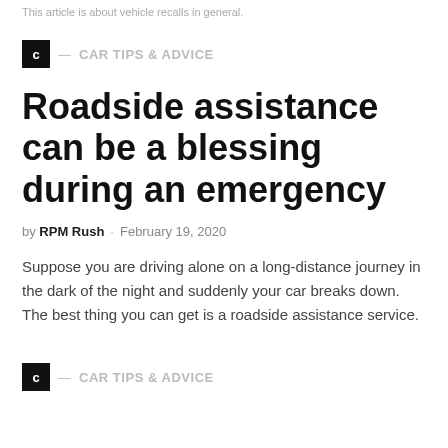This article is about vehicle recalls in general.
C — CAR TIPS & ADVICE
Roadside assistance can be a blessing during an emergency
by RPM Rush · February 19, 2020
Suppose you are driving alone on a long-distance journey in the dark of the night and suddenly your car breaks down. The best thing you can get is a roadside assistance service.
C — CAR TIPS & ADVICE